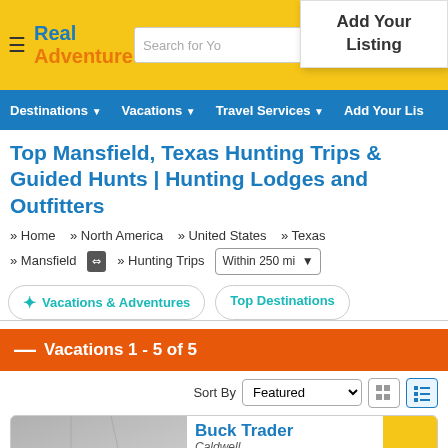Real Adventures — Search for You — Add Your Listing
Destinations ▼   Vacations ▼   Travel Services ▼   Add Your Lis
Top Mansfield, Texas Hunting Trips & Guided Hunts | Hunting Lodges and Outfitters
» Home   » North America   » United States   » Texas   » Mansfield  ⇔  » Hunting Trips   Within 250 mi ▼
✦ Vacations & Adventures    Top Destinations
— Vacations 1 - 5 of 5
Sort By  Featured ▼
Buck Trader Caldwell,